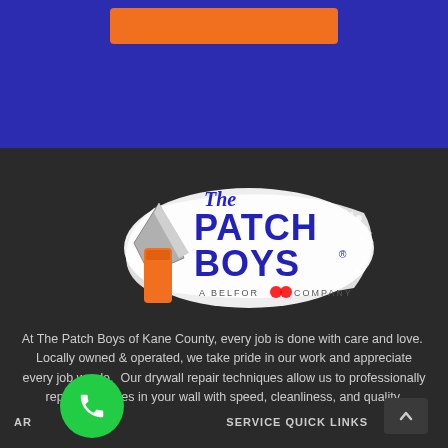[Figure (logo): The Patch Boys logo - A Belfor Company, with drywall knife and orange scraper tool on white brush stroke background]
At The Patch Boys of Kane County, every job is done with care and love.  Locally owned & operated, we take pride in our work and appreciate every job we do.  Our drywall repair techniques allow us to professionally repair any holes in your wall with speed, cleanliness, and quality.
ARE SERVED   SERVICE QUICK LINKS